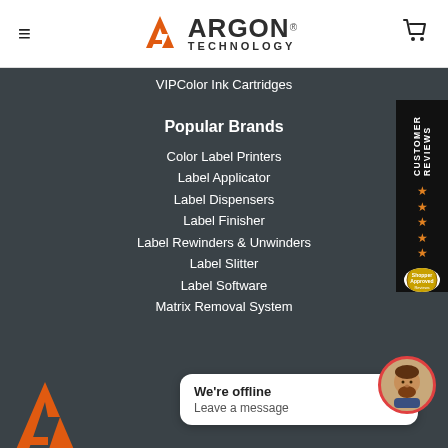[Figure (logo): Argon Technology logo with hamburger menu and cart icon in white header]
VIPColor Ink Cartridges
Popular Brands
Color Label Printers
Label Applicator
Label Dispensers
Label Finisher
Label Rewinders & Unwinders
Label Slitter
Label Software
Matrix Removal System
[Figure (illustration): Customer Reviews sidebar with orange stars and badge]
[Figure (logo): Argon Technology logo partial at bottom]
We're offline
Leave a message
[Figure (illustration): Chat avatar with red circle border]